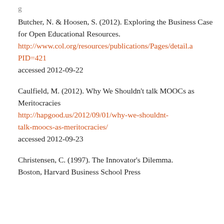Butcher, N. & Hoosen, S. (2012). Exploring the Business Case for Open Educational Resources. http://www.col.org/resources/publications/Pages/detail.aspx?PID=421 accessed 2012-09-22
Caulfield, M. (2012). Why We Shouldn't talk MOOCs as Meritocracies http://hapgood.us/2012/09/01/why-we-shouldnt-talk-moocs-as-meritocracies/ accessed 2012-09-23
Christensen, C. (1997). The Innovator's Dilemma. Boston, Harvard Business School Press